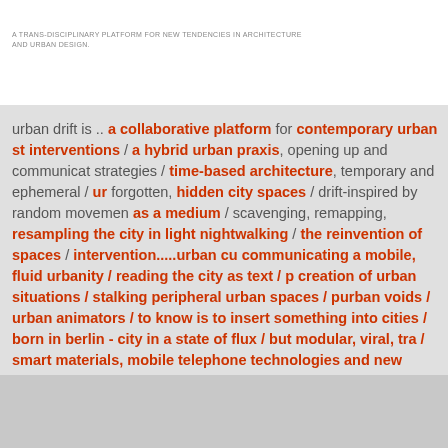A TRANS-DISCIPLINARY PLATFORM FOR NEW TENDENCIES IN ARCHITECTURE AND URBAN DESIGN.
urban drift is .. a collaborative platform for contemporary urban strategies / interventions / a hybrid urban praxis, opening up and communicating strategies / time-based architecture, temporary and ephemeral / urban forgotten, hidden city spaces / drift-inspired by random movement as a medium / scavenging, remapping, resampling the city in light / nightwalking / the reinvention of spaces / intervention.....urban cu / communicating a mobile, fluid urbanity / reading the city as text / creation of urban situations / stalking peripheral urban spaces / urban voids / urban animators / to know is to insert something into cities / born in berlin - city in a state of flux / but modular, viral / smart materials, mobile telephone technologies and new hybrid the real / multiple identites